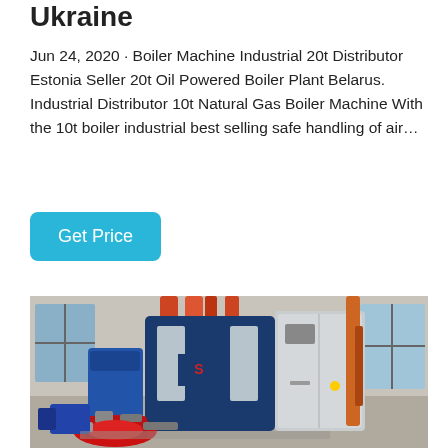Ukraine
Jun 24, 2020 · Boiler Machine Industrial 20t Distributor Estonia Seller 20t Oil Powered Boiler Plant Belarus. Industrial Distributor 10t Natural Gas Boiler Machine With the 10t boiler industrial best selling safe handling of air…
Get Price
[Figure (photo): Industrial boiler machine in a factory setting, showing a large blue and stainless steel boiler unit with pipes and a red burner assembly in the foreground.]